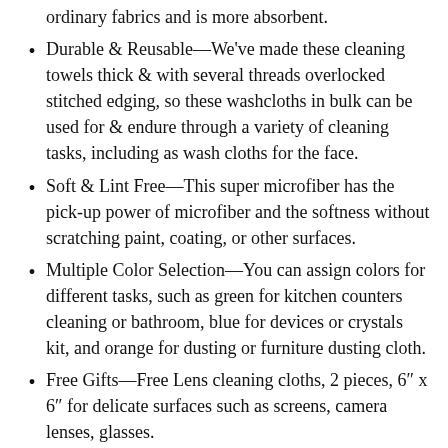ordinary fabrics and is more absorbent.
Durable & Reusable—We've made these cleaning towels thick & with several threads overlocked stitched edging, so these washcloths in bulk can be used for & endure through a variety of cleaning tasks, including as wash cloths for the face.
Soft & Lint Free—This super microfiber has the pick-up power of microfiber and the softness without scratching paint, coating, or other surfaces.
Multiple Color Selection—You can assign colors for different tasks, such as green for kitchen counters cleaning or bathroom, blue for devices or crystals kit, and orange for dusting or furniture dusting cloth.
Free Gifts—Free Lens cleaning cloths, 2 pieces, 6″ x 6″ for delicate surfaces such as screens, camera lenses, glasses.